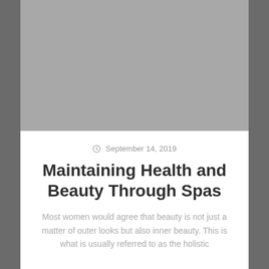[Figure (photo): Large gray placeholder image at the top of the article page]
September 14, 2019
Maintaining Health and Beauty Through Spas
Most women would agree that beauty is not just a matter of outer looks but also inner beauty. This is what is usually referred to as the holistic